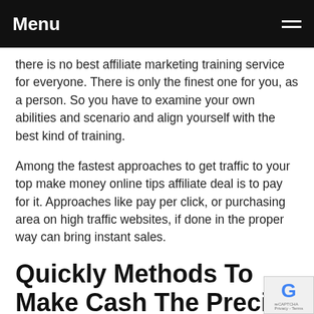Menu
there is no best affiliate marketing training service for everyone. There is only the finest one for you, as a person. So you have to examine your own abilities and scenario and align yourself with the best kind of training.
Among the fastest approaches to get traffic to your top make money online tips affiliate deal is to pay for it. Approaches like pay per click, or purchasing area on high traffic websites, if done in the proper way can bring instant sales.
Quickly Methods To Make Cash The Precise Plan To $1,000 In 30 Days!